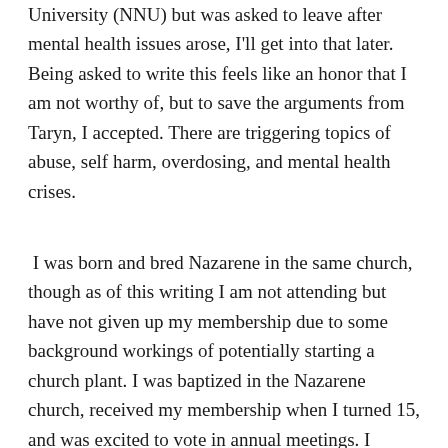University (NNU) but was asked to leave after mental health issues arose, I'll get into that later. Being asked to write this feels like an honor that I am not worthy of, but to save the arguments from Taryn, I accepted. There are triggering topics of abuse, self harm, overdosing, and mental health crises.
I was born and bred Nazarene in the same church, though as of this writing I am not attending but have not given up my membership due to some background workings of potentially starting a church plant. I was baptized in the Nazarene church, received my membership when I turned 15, and was excited to vote in annual meetings. I attended 2 district assemblies as a delegate, and Mission convention as well. I went to kids camps, teen camps, attended NYC'03, attended